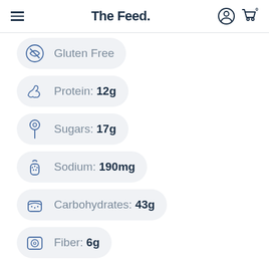The Feed.
Gluten Free
Protein: 12g
Sugars: 17g
Sodium: 190mg
Carbohydrates: 43g
Fiber: 6g